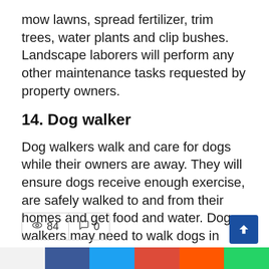mow lawns, spread fertilizer, trim trees, water plants and clip bushes. Landscape laborers will perform any other maintenance tasks requested by property owners.
14. Dog walker
Dog walkers walk and care for dogs while their owners are away. They will ensure dogs receive enough exercise, are safely walked to and from their homes and get food and water. Dog walkers may need to walk dogs in every weather condition at designated times every day.
👁 84  💬 0